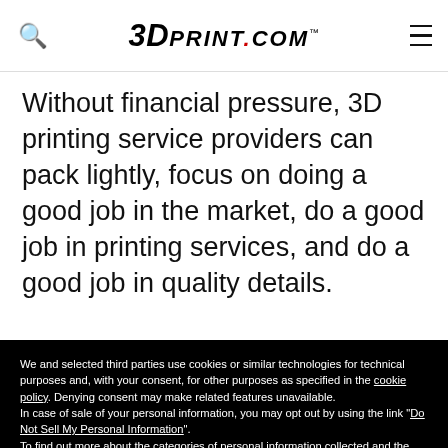3DPrint.com
Without financial pressure, 3D printing service providers can pack lightly, focus on doing a good job in the market, do a good job in printing services, and do a good job in quality details.
We and selected third parties use cookies or similar technologies for technical purposes and, with your consent, for other purposes as specified in the cookie policy. Denying consent may make related features unavailable.
In case of sale of your personal information, you may opt out by using the link "Do Not Sell My Personal Information".
To find out more about the categories of personal information collected and the purposes for which such information will be used, please refer to our privacy policy. You can consent to the use of such technologies by using the “Accept” button, by scrolling this page, by interacting with any link or button outside of this notice or by continuing to browse otherwise.
Reject
Accept
Learn more and customize